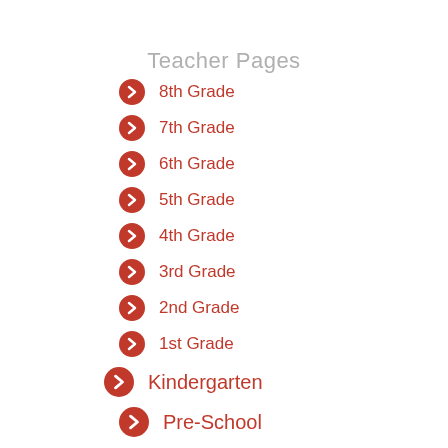Teacher Pages
8th Grade
7th Grade
6th Grade
5th Grade
4th Grade
3rd Grade
2nd Grade
1st Grade
Kindergarten
Pre-School